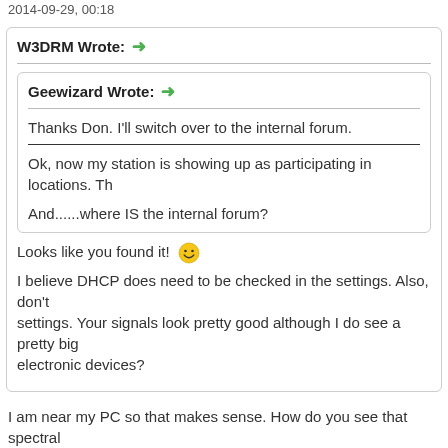2014-09-29, 00:18
W3DRM Wrote: →
Geewizard Wrote: →
Thanks Don. I'll switch over to the internal forum.
Ok, now my station is showing up as participating in locations. Th
And......where IS the internal forum?
Looks like you found it! 😀
I believe DHCP does need to be checked in the settings. Also, don't settings. Your signals look pretty good although I do see a pretty big electronic devices?
I am near my PC so that makes sense. How do you see that spectral
Stations: 1187